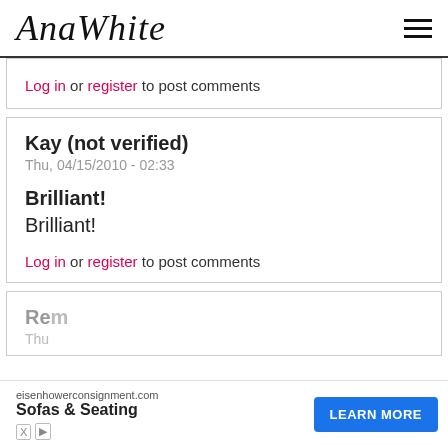AnaWhite
Log in or register to post comments
Kay (not verified)
Thu, 04/15/2010 - 02:33
Brilliant!
Brilliant!
Log in or register to post comments
Rem...
Thu...